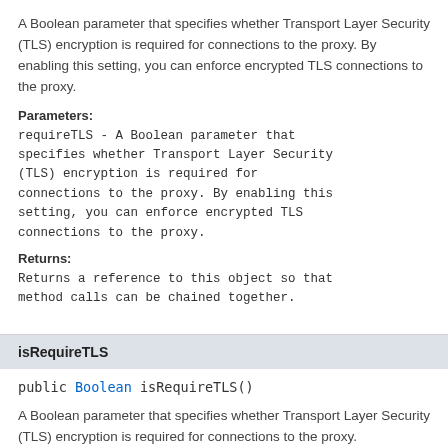A Boolean parameter that specifies whether Transport Layer Security (TLS) encryption is required for connections to the proxy. By enabling this setting, you can enforce encrypted TLS connections to the proxy.
Parameters:
requireTLS - A Boolean parameter that specifies whether Transport Layer Security (TLS) encryption is required for connections to the proxy. By enabling this setting, you can enforce encrypted TLS connections to the proxy.
Returns:
Returns a reference to this object so that method calls can be chained together.
isRequireTLS
public Boolean isRequireTLS()
A Boolean parameter that specifies whether Transport Layer Security (TLS) encryption is required for connections to the proxy.